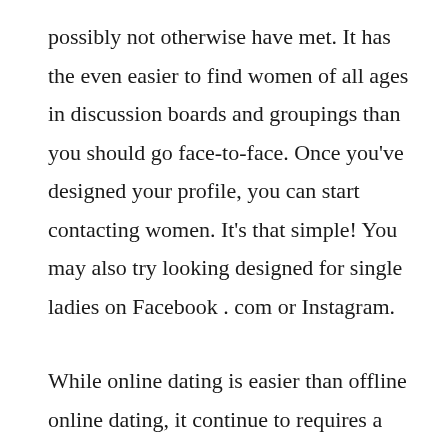possibly not otherwise have met. It has the even easier to find women of all ages in discussion boards and groupings than you should go face-to-face. Once you've designed your profile, you can start contacting women. It's that simple! You may also try looking designed for single ladies on Facebook . com or Instagram.

While online dating is easier than offline online dating, it continue to requires a bit more work. Even though it's easier to meet